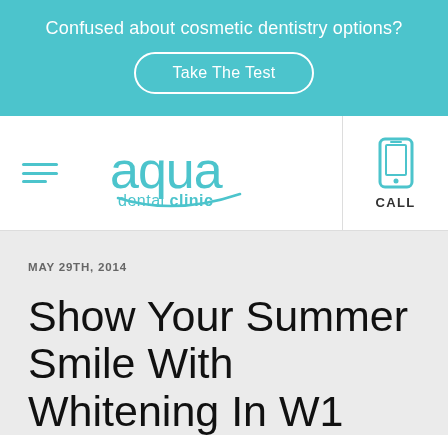Confused about cosmetic dentistry options?
Take The Test
[Figure (logo): Aqua Dental Clinic logo in teal with stylized text and smile curve]
CALL
MAY 29TH, 2014
Show Your Summer Smile With Whitening In W1